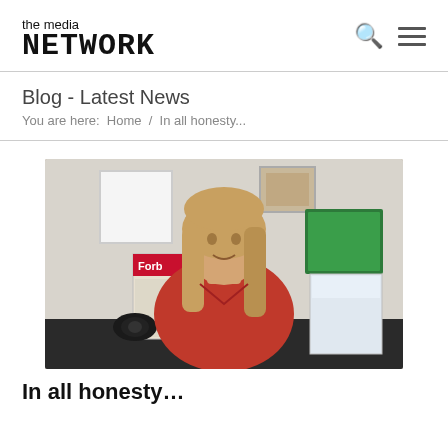the media NETWORK
Blog - Latest News
You are here:  Home  /  In all honesty...
[Figure (photo): Woman with long blonde hair wearing a red shirt, sitting at a desk in an office. Behind her are framed artwork, a green monitor screen, a Forbes magazine, and another publication. She is smiling slightly.]
In all honesty…